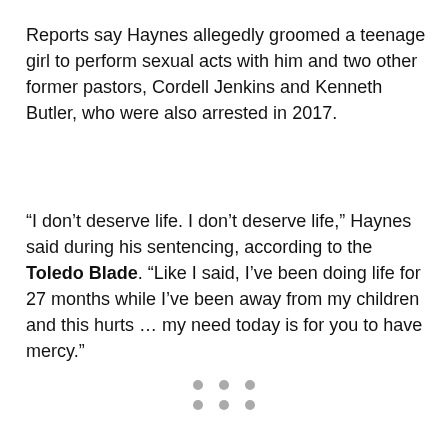Reports say Haynes allegedly groomed a teenage girl to perform sexual acts with him and two other former pastors, Cordell Jenkins and Kenneth Butler, who were also arrested in 2017.
“I don’t deserve life. I don’t deserve life,” Haynes said during his sentencing, according to the Toledo Blade. “Like I said, I’ve been doing life for 27 months while I’ve been away from my children and this hurts … my need today is for you to have mercy.”